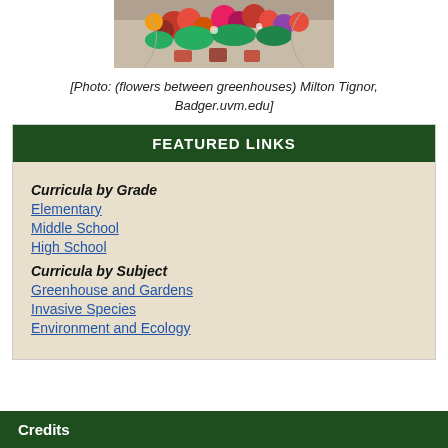[Figure (photo): Photo of flowers between greenhouses]
[Photo: (flowers between greenhouses) Milton Tignor, Badger.uvm.edu]
FEATURED LINKS
Curricula by Grade
Elementary
Middle School
High School
Curricula by Subject
Greenhouse and Gardens
Invasive Species
Environment and Ecology
Credits